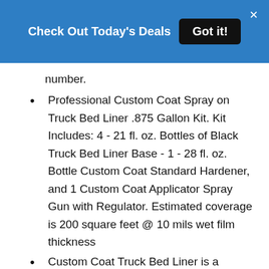[Figure (screenshot): Blue banner with text 'Check Out Today's Deals' and a black 'Got it!' button, with an X close button in the top right corner.]
number.
Professional Custom Coat Spray on Truck Bed Liner .875 Gallon Kit. Kit Includes: 4 - 21 fl. oz. Bottles of Black Truck Bed Liner Base - 1 - 28 fl. oz. Bottle Custom Coat Standard Hardener, and 1 Custom Coat Applicator Spray Gun with Regulator. Estimated coverage is 200 square feet @ 10 mils wet film thickness
Custom Coat Truck Bed Liner is a premium durable long lasting textured protective coating that can tolerate extreme climatic temperature conditions. It is heat, UV resistant and waterproof, so it protects coated surfaces from rust. Use it to